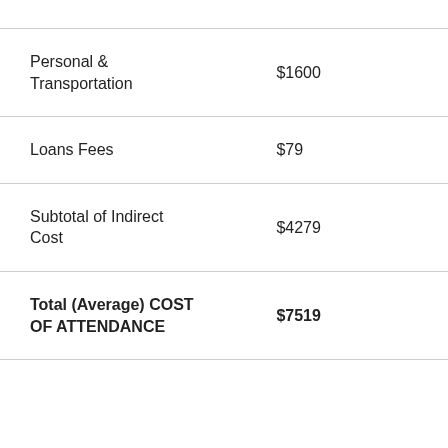| Category | Amount |
| --- | --- |
| Personal & Transportation | $1600 |
| Loans Fees | $79 |
| Subtotal of Indirect Cost | $4279 |
| Total (Average) COST OF ATTENDANCE | $7519 |